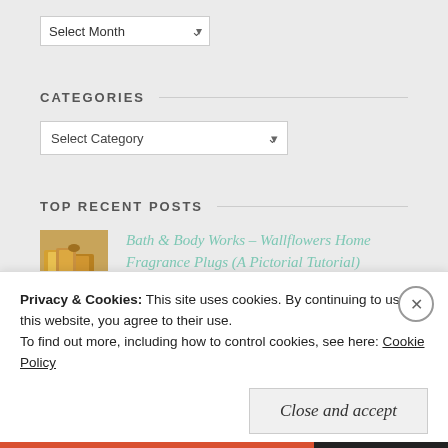[Figure (screenshot): Select Month dropdown widget]
CATEGORIES
[Figure (screenshot): Select Category dropdown widget]
TOP RECENT POSTS
[Figure (photo): Thumbnail image for Bath & Body Works post]
Bath & Body Works – Wallflowers Home Fragrance Plugs (A Pictorial Tutorial)
[Figure (photo): Thumbnail image for Throwback Thursday Essie post]
Throwback Thursday! Essie – Cabana Boy
Privacy & Cookies: This site uses cookies. By continuing to use this website, you agree to their use.
To find out more, including how to control cookies, see here: Cookie Policy
Close and accept